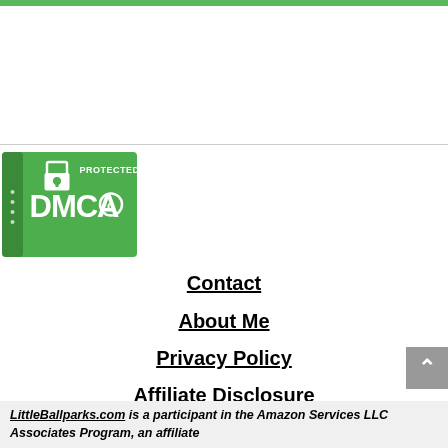[Figure (logo): DMCA Protected By badge - green background with DMCA logo and copyright symbol]
Contact
About Me
Privacy Policy
Affiliate Disclosure
LittleBallparks.com is a participant in the Amazon Services LLC Associates Program, an affiliate